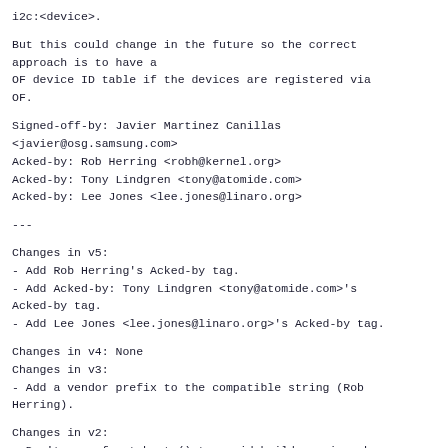i2c:<device>.
But this could change in the future so the correct approach is to have a OF device ID table if the devices are registered via OF.
Signed-off-by: Javier Martinez Canillas <javier@osg.samsung.com>
Acked-by: Rob Herring <robh@kernel.org>
Acked-by: Tony Lindgren <tony@atomide.com>
Acked-by: Lee Jones <lee.jones@linaro.org>
---
Changes in v5:
- Add Rob Herring's Acked-by tag.
- Add Acked-by: Tony Lindgren <tony@atomide.com>'s Acked-by tag.
- Add Lee Jones <lee.jones@linaro.org>'s Acked-by tag.
Changes in v4: None
Changes in v3:
- Add a vendor prefix to the compatible string (Rob Herring).
Changes in v2:
- Don't use of_match_ptr() to avoid build warning when CONFIG_OF is disabled.